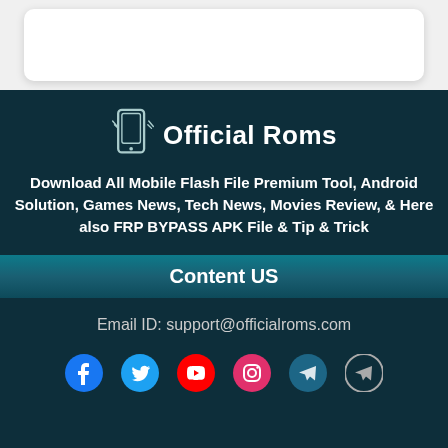[Figure (logo): Official Roms logo with phone icon and text]
Download All Mobile Flash File Premium Tool, Android Solution, Games News, Tech News, Movies Review, & Here also FRP BYPASS APK File & Tip & Trick
Content US
Email ID: support@officialroms.com
[Figure (other): Social media icons: Facebook, Twitter, YouTube, Instagram, Telegram (x2)]